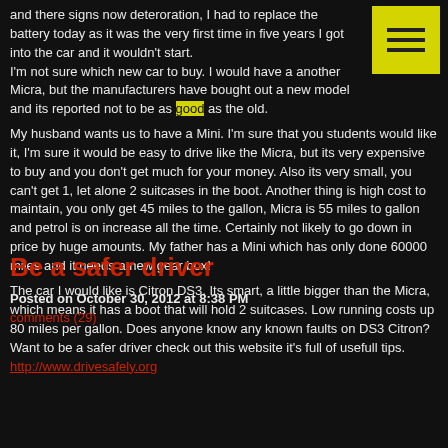and there signs now deteroration, I had to replace the battery today as it was the very first time in five years I got into the car and it wouldn't start. I'm not sure which new car to buy. I would have a another Micra, but the manufacturers have bought out a new model and its reported not to be as good as the old.
[Figure (other): Yellow hamburger menu icon button with three horizontal lines]
My husband wants us to have a Mini. I'm sure that you students would like it, I'm sure it would be easy to drive like the Micra, but its very expensive to buy and you don't get much for your money. Also its very small, you can't get 1, let alone 2 suitcases in the boot. Another thing is high cost to maintain, you only get 45 miles to the gallon, Micra is 55 miles to gallon and petrol is on increase all the time. Certainly not likely to go down in price by huge amounts. My father has a Mini which has only done 60000 miles and it needs a new gear box!
The car I would like is Citron DS3. Its smart, a little bigger than the Micra, which means it has a boot that will hold 2 suitcases. Low running costs up 80 miles per gallon. Does anyone know any known faults on DS3 Citron?
Be a safer driver
Posted on October 30, 2012 at 8:38 PM
comments (29)
Want to be a safer driver check out this website it's full of usefull tips.
http://www.drivesafely.org